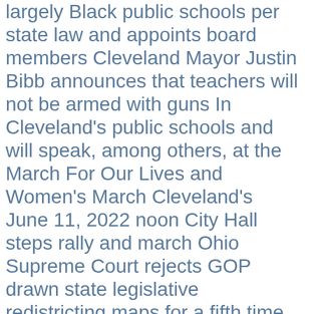largely Black public schools per state law and appoints board members Cleveland Mayor Justin Bibb announces that teachers will not be armed with guns In Cleveland's public schools and will speak, among others, at the March For Our Lives and Women's March Cleveland's June 11, 2022 noon City Hall steps rally and march Ohio Supreme Court rejects GOP drawn state legislative redistricting maps for a fifth time with Chief Justice Maureen O'Connor calling it a 'stunning rebuke of the rule of law'....The Equal Districts Coalition